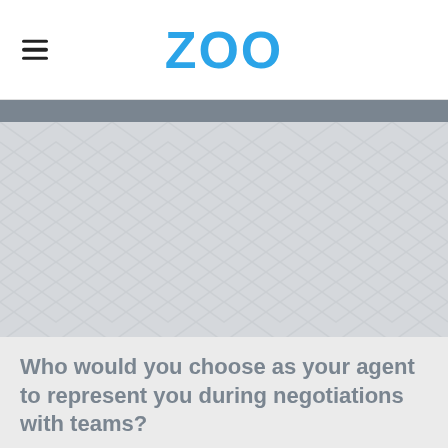ZOO
[Figure (illustration): Herringbone/chevron patterned light grey background image area]
Who would you choose as your agent to represent you during negotiations with teams?
A big-time, powerful agency
An up-and-coming agency business